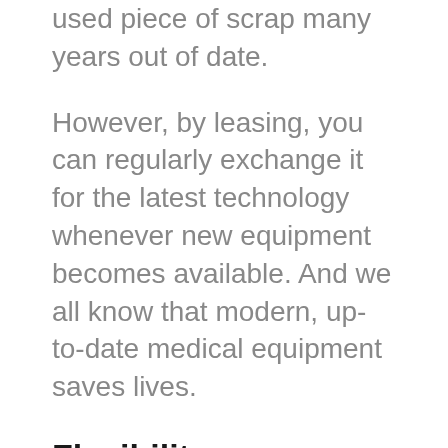used piece of scrap many years out of date.
However, by leasing, you can regularly exchange it for the latest technology whenever new equipment becomes available. And we all know that modern, up-to-date medical equipment saves lives.
Flexibility
Generally, leasing companies offer the option to upgrade or exchange your equipment for alternatives